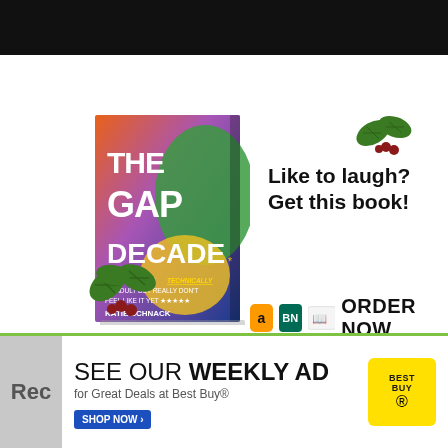[Figure (illustration): Black header bar at top of page]
[Figure (illustration): Advertisement for 'The Gap Decade' book by Katie Schnack with holly decorations, book cover image, tagline 'Like to laugh? Get this book!' and ORDER NOW with Amazon, BN, and Kindle icons]
[Figure (illustration): Best Buy advertisement strip: 'SEE OUR WEEKLY AD for Great Deals at Best Buy®' with SHOP NOW button and Best Buy logo, with green bar at bottom]